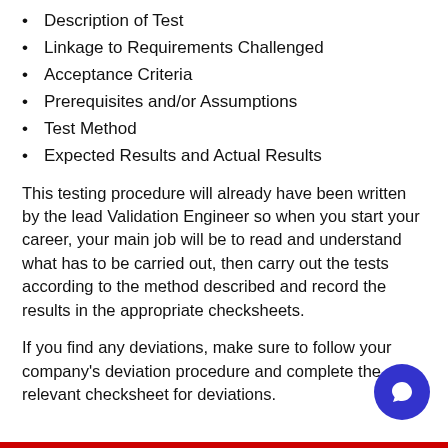Description of Test
Linkage to Requirements Challenged
Acceptance Criteria
Prerequisites and/or Assumptions
Test Method
Expected Results and Actual Results
This testing procedure will already have been written by the lead Validation Engineer so when you start your career, your main job will be to read and understand what has to be carried out, then carry out the tests according to the method described and record the results in the appropriate checksheets.
If you find any deviations, make sure to follow your company's deviation procedure and complete the relevant checksheet for deviations.